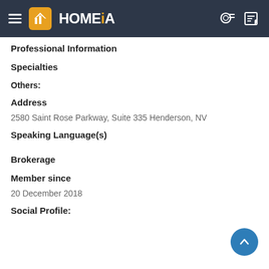HOMEiA
Professional Information
Specialties
Others:
Address
2580 Saint Rose Parkway, Suite 335 Henderson, NV
Speaking Language(s)
Brokerage
Member since
20 December 2018
Social Profile: